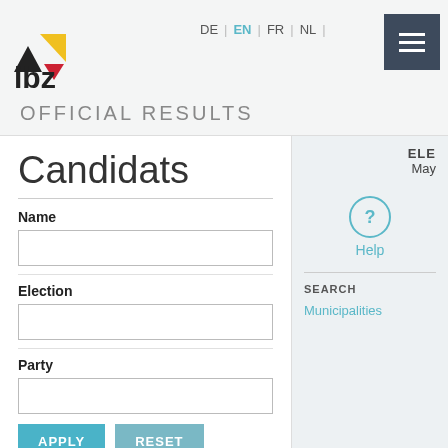[Figure (logo): IBZ logo with black and yellow triangles and red downward triangle, text 'ibz']
DE | EN | FR | NL
OFFICIAL RESULTS
Candidats
Name
Election
Party
APPLY   RESET
ELE
May
? Help
SEARCH
Municipalities